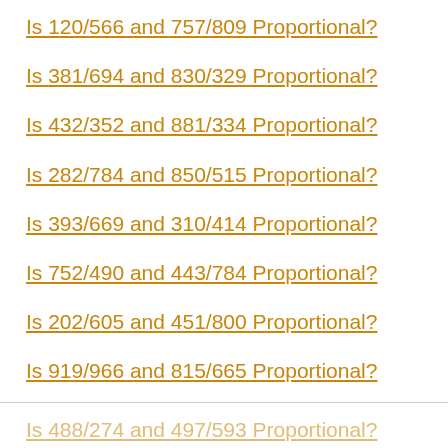Is 120/566 and 757/809 Proportional?
Is 381/694 and 830/329 Proportional?
Is 432/352 and 881/334 Proportional?
Is 282/784 and 850/515 Proportional?
Is 393/669 and 310/414 Proportional?
Is 752/490 and 443/784 Proportional?
Is 202/605 and 451/800 Proportional?
Is 919/966 and 815/665 Proportional?
Is 488/274 and 497/593 Proportional?